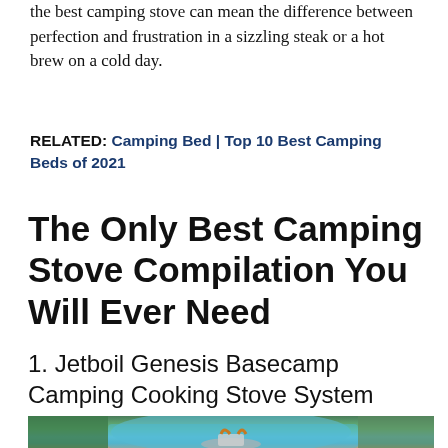the best camping stove can mean the difference between perfection and frustration in a sizzling steak or a hot brew on a cold day.
RELATED: Camping Bed | Top 10 Best Camping Beds of 2021
The Only Best Camping Stove Compilation You Will Ever Need
1. Jetboil Genesis Basecamp Camping Cooking Stove System
[Figure (photo): Photo of camping stove with teal/blue tent and greenery in background]